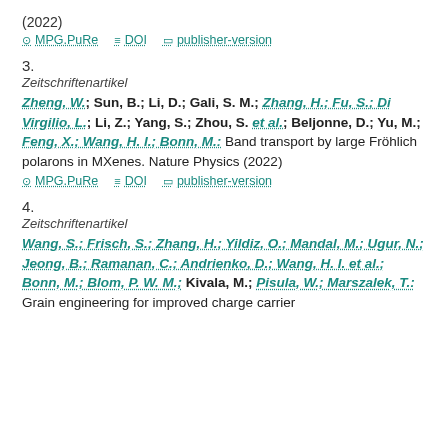(2022)
MPG.PuRe   DOI   publisher-version
3.
Zeitschriftenartikel
Zheng, W.; Sun, B.; Li, D.; Gali, S. M.; Zhang, H.; Fu, S.; Di Virgilio, L.; Li, Z.; Yang, S.; Zhou, S. et al.; Beljonne, D.; Yu, M.; Feng, X.; Wang, H. I.; Bonn, M.: Band transport by large Fröhlich polarons in MXenes. Nature Physics (2022)
MPG.PuRe   DOI   publisher-version
4.
Zeitschriftenartikel
Wang, S.; Frisch, S.; Zhang, H.; Yildiz, O.; Mandal, M.; Ugur, N.; Jeong, B.; Ramanan, C.; Andrienko, D.; Wang, H. I. et al.; Bonn, M.; Blom, P. W. M.; Kivala, M.; Pisula, W.; Marszalek, T.: Grain engineering for improved charge carrier